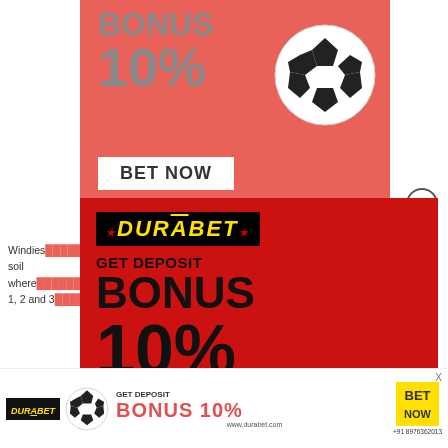[Figure (infographic): Background salmon/pink Durabet betting ad showing BONUS 10% text and BET NOW button with soccer ball]
Windies ... n soil where ... Stadium ... April 1, 2 and 3 ... margin...
[Figure (infographic): Main Durabet popup ad on red background with yellow logo, GET DEPOSIT BONUS 10%, BET NOW button, soccer ball, WhatsApp +91 8976362013]
[Figure (infographic): Bottom banner Durabet ad with BONUS 10%, BET NOW, www.durabet.com, +91 8976362013]